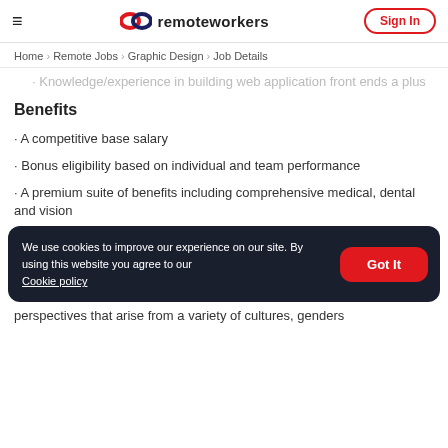remoteworkers | Sign In
Home > Remote Jobs > Graphic Design > Job Details
· Knowledge/experience in building web application front ends a plus
Benefits
· A competitive base salary
· Bonus eligibility based on individual and team performance
· A premium suite of benefits including comprehensive medical, dental and vision
We use cookies to improve our experience on our site. By using this website you agree to our Cookie policy
perspectives that arise from a variety of cultures, genders